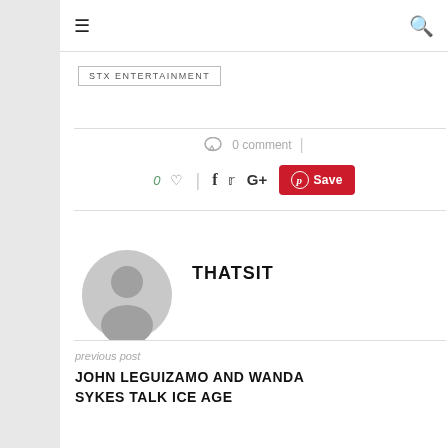≡  🔍
STX ENTERTAINMENT
0 comment
0 ♡  |  f  🐦  G+  Save
[Figure (illustration): Gray default user avatar/profile image circle]
THATSIT
previous post
JOHN LEGUIZAMO AND WANDA SYKES TALK ICE AGE